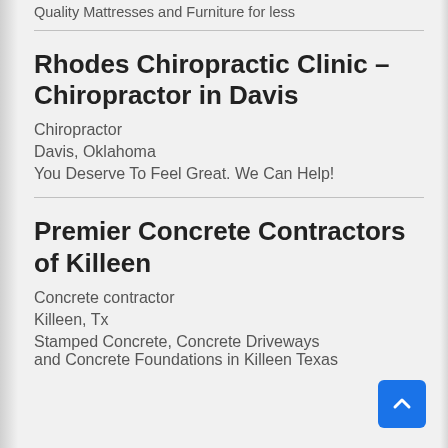Quality Mattresses and Furniture for less
Rhodes Chiropractic Clinic – Chiropractor in Davis
Chiropractor
Davis, Oklahoma
You Deserve To Feel Great. We Can Help!
Premier Concrete Contractors of Killeen
Concrete contractor
Killeen, Tx
Stamped Concrete, Concrete Driveways and Concrete Foundations in Killeen Texas